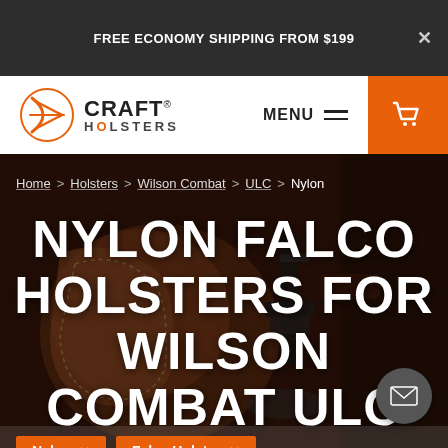FREE ECONOMY SHIPPING FROM $199
[Figure (logo): Craft Holsters logo with orange bow/arrow icon and brand name]
MENU
[Figure (screenshot): Hero background showing leather holsters and gun hardware on dark surface]
Home > Holsters > Wilson Combat > ULC > Nylon
NYLON FALCO HOLSTERS FOR WILSON COMBAT ULC
Nylon × Falco Holster ×